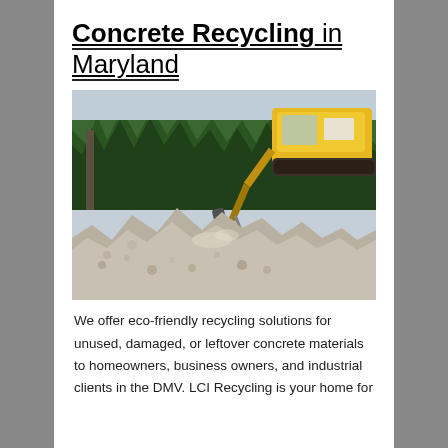Concrete Recycling in Maryland
[Figure (photo): Photo of a yellow excavator with a crusher/bucket attachment working on a large pile of crushed concrete rubble, with evergreen trees and a light sky in the background.]
We offer eco-friendly recycling solutions for unused, damaged, or leftover concrete materials to homeowners, business owners, and industrial clients in the DMV. LCI Recycling is your home for concrete recycling in Maryland.